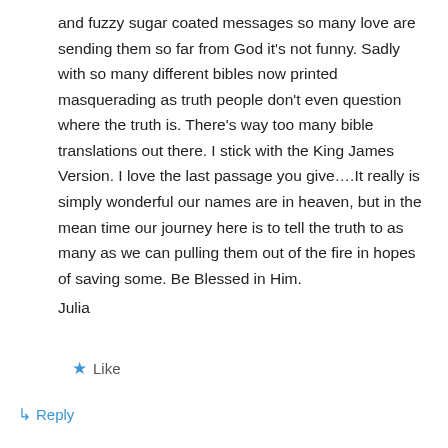and fuzzy sugar coated messages so many love are sending them so far from God it's not funny. Sadly with so many different bibles now printed masquerading as truth people don't even question where the truth is. There's way too many bible translations out there. I stick with the King James Version. I love the last passage you give….It really is simply wonderful our names are in heaven, but in the mean time our journey here is to tell the truth to as many as we can pulling them out of the fire in hopes of saving some. Be Blessed in Him.
Julia
★ Like
↳ Reply